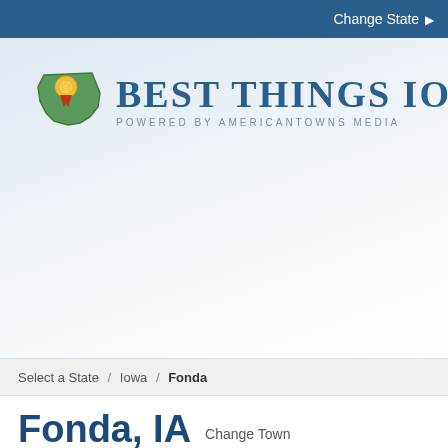Change State ▶
[Figure (logo): Best Things Iowa logo with Iowa state shape icon and text 'Best Things Iowa, Powered by AmericanTowns Media']
Select a State / Iowa / Fonda
Fonda, IA Change Town